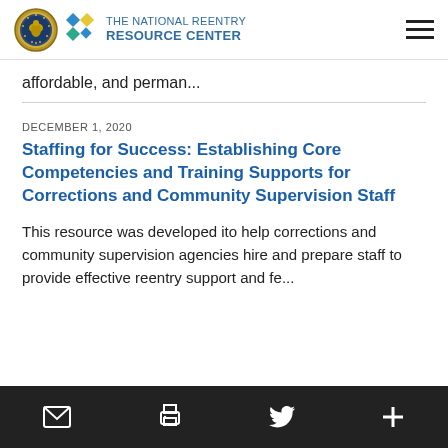the NATIONAL REENTRY RESOURCE CENTER
affordable, and perman...
DECEMBER 1, 2020
Staffing for Success: Establishing Core Competencies and Training Supports for Corrections and Community Supervision Staff
This resource was developed ito help corrections and community supervision agencies hire and prepare staff to provide effective reentry support and fe...
Email | Print | Twitter | Add